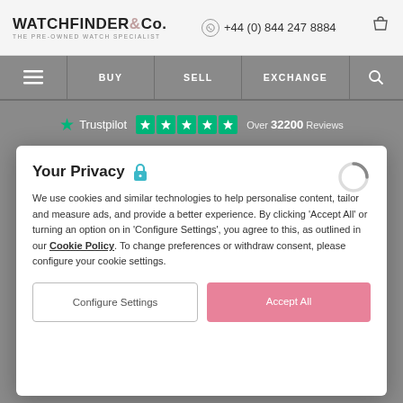WATCHFINDER & Co. THE PRE-OWNED WATCH SPECIALIST | +44 (0) 844 247 8884
≡ BUY SELL EXCHANGE 🔍
★ Trustpilot ★★★★★ Over 32200 Reviews
WATCHFINDER NEWSLETTER Sign Up
Your Privacy
We use cookies and similar technologies to help personalise content, tailor and measure ads, and provide a better experience. By clicking 'Accept All' or turning an option on in 'Configure Settings', you agree to this, as outlined in our Cookie Policy. To change preferences or withdraw consent, please configure your cookie settings.
Configure Settings
Accept All